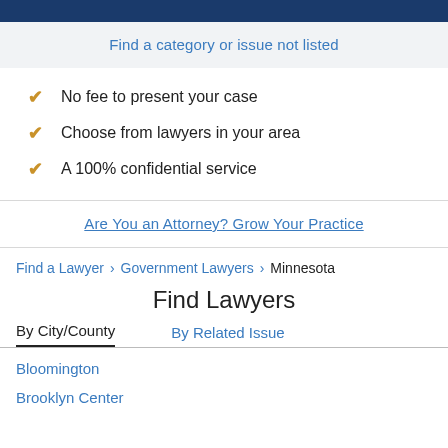Find a category or issue not listed
No fee to present your case
Choose from lawyers in your area
A 100% confidential service
Are You an Attorney? Grow Your Practice
Find a Lawyer > Government Lawyers > Minnesota
Find Lawyers
By City/County | By Related Issue
Bloomington
Brooklyn Center